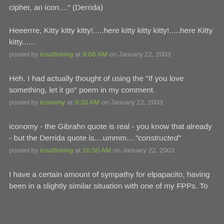cipher, an icon...." (Derrida)
Heeerrre, Kitty kitty kitty!.....here kitty kitty kitty!.....here Kitty kitty......
posted by troutfishing at 9:06 AM on January 22, 2003
Heh. I had actually thought of using the "If you love something, let it go" poem in my comment.
posted by iconomy at 9:20 AM on January 22, 2003
iconomy - the Gibrahn quote is real - you know that already - but the Derrida quote is....ummm...."constructed"
posted by troutfishing at 10:50 AM on January 22, 2003
I have a certain amount of sympathy for elpapacito, having been in a slightly similar situation with one of my FPPs. To